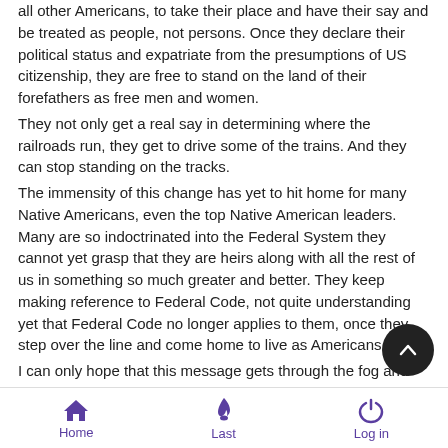all other Americans, to take their place and have their say and be treated as people, not persons. Once they declare their political status and expatriate from the presumptions of US citizenship, they are free to stand on the land of their forefathers as free men and women.
They not only get a real say in determining where the railroads run, they get to drive some of the trains. And they can stop standing on the tracks.
The immensity of this change has yet to hit home for many Native Americans, even the top Native American leaders. Many are so indoctrinated into the Federal System they cannot yet grasp that they are heirs along with all the rest of us in something so much greater and better. They keep making reference to Federal Code, not quite understanding yet that Federal Code no longer applies to them, once they step over the line and come home to live as Americans.
I can only hope that this message gets through the fog and confusion and begins to resonate and make sense to everyone
Home  Last  Log in